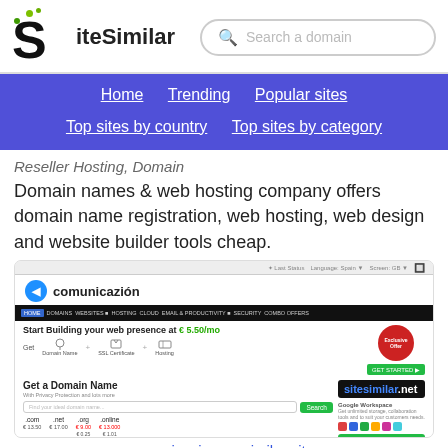SiteSimilar — Search a domain
Home | Trending | Popular sites | Top sites by country | Top sites by category
Reseller Hosting, Domain
Domain names & web hosting company offers domain name registration, web hosting, web design and website builder tools cheap.
[Figure (screenshot): Screenshot of comunicazion.eu website showing logo, navigation bar, 'Start Building your web presence at €5.50/mo', domain search section, and sitesimilar.net watermark]
comunicazion.eu similar sites